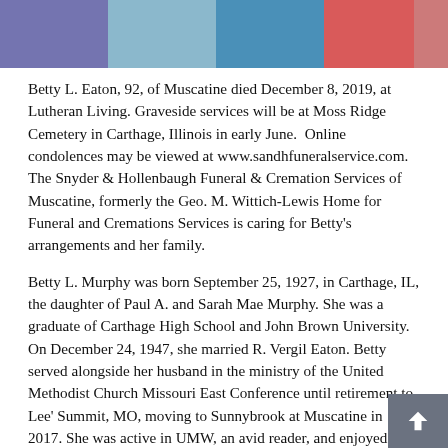[Figure (other): Colored header bar with segments in purple, light blue, medium blue, red/coral, salmon/pink, light gray, and a gray print icon button on the right.]
Betty L. Eaton, 92, of Muscatine died December 8, 2019, at Lutheran Living. Graveside services will be at Moss Ridge Cemetery in Carthage, Illinois in early June. Online condolences may be viewed at www.sandhfuneralservice.com. The Snyder & Hollenbaugh Funeral & Cremation Services of Muscatine, formerly the Geo. M. Wittich-Lewis Home for Funeral and Cremations Services is caring for Betty's arrangements and her family.
Betty L. Murphy was born September 25, 1927, in Carthage, IL, the daughter of Paul A. and Sarah Mae Murphy. She was a graduate of Carthage High School and John Brown University. On December 24, 1947, she married R. Vergil Eaton. Betty served alongside her husband in the ministry of the United Methodist Church Missouri East Conference until retirement to Lee' Summit, MO, moving to Sunnybrook at Muscatine in 2017. She was active in UMW, an avid reader, and enjoyed